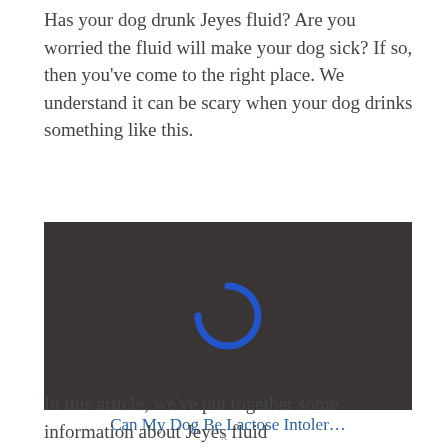Has your dog drunk Jeyes fluid? Are you worried the fluid will make your dog sick? If so, then you've come to the right place. We understand it can be scary when your dog drinks something like this.
[Figure (screenshot): Dark video player thumbnail with a blue loading spinner (partial arc) centered on a dark gray/brown background.]
Can My Dog Be Lactose Intoler…
In this article, we've put together some information about Jeyes fluid